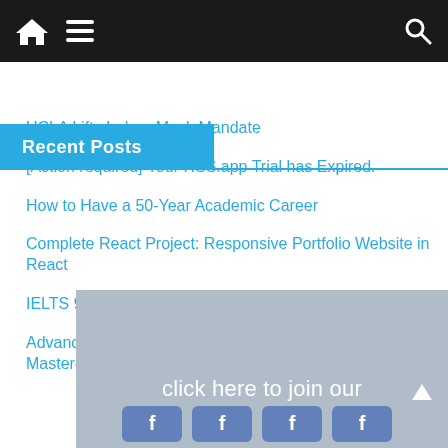Navigation bar with home icon, menu icon, and search icon
Recent Posts
UCLA Lifts Indoor Mask Mandate
[Action required] Your RSS.app Trial has Expired.
How to Have a 50-Year Academic Career
Complete React Project: Responsive Portfolio Website in React
IELTS 9.0 Daily makes it simple to learn English
Advanced Tableau Desktop Training with the Tableau Masterclass
[Figure (illustration): Facebook group banner with text 'click here to join our' and partial Facebook logo icons visible at bottom]